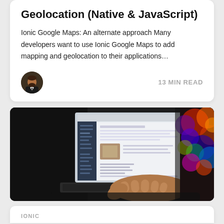Geolocation (Native & JavaScript)
Ionic Google Maps: An alternate approach Many developers want to use Ionic Google Maps to add mapping and geolocation to their applications…
13 MIN READ
[Figure (photo): Person typing on a laptop with a colorful blurred screen in the background]
IONIC